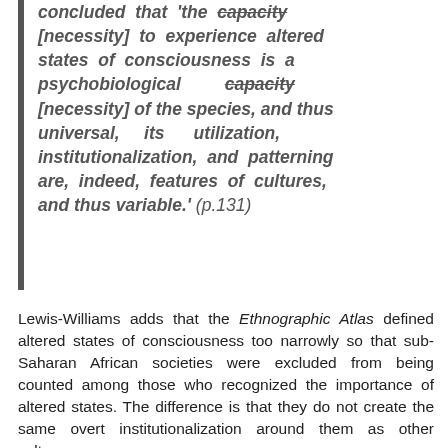concluded that 'the capacity [necessity] to experience altered states of consciousness is a psychobiological capacity [necessity] of the species, and thus universal, its utilization, institutionalization, and patterning are, indeed, features of cultures, and thus variable.' (p.131)
Lewis-Williams adds that the Ethnographic Atlas defined altered states of consciousness too narrowly so that sub-Saharan African societies were excluded from being counted among those who recognized the importance of altered states. The difference is that they do not create the same overt institutionalization around them as other cultures.